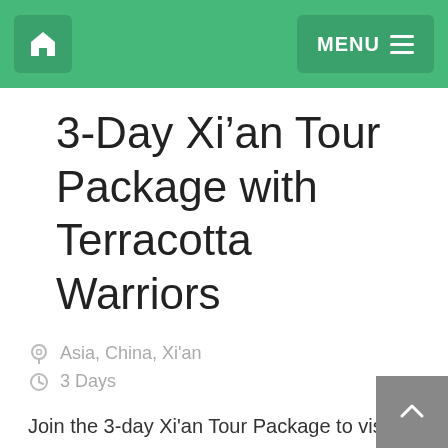Home | MENU
3-Day Xi’an Tour Package with Terracotta Warriors
Asia, China, Xi'an
3 Days
Join the 3-day Xi'an Tour Package to visit the Terracotta Warriors and